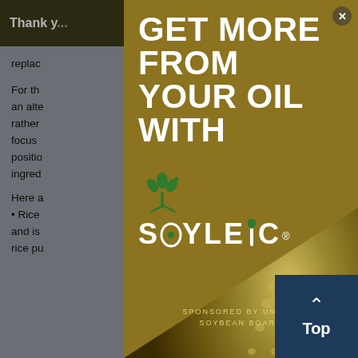Thank you ... ools you
replac...
For th... y as an alte... rather... ing to focus... positio... ased ingred...
Here a... • Rice... and is... rice pu...
[Figure (infographic): Advertisement modal overlay with gold background. Large white bold text reads 'GET MORE FROM YOUR OIL WITH'. Below is the Soyleic logo with a green plant icon above the text 'SOYLEIC' with a stylized leaf replacing the I. Text reads 'SPONSORED BY UNITED SOYBEAN BOARD'. Bottom right shows a close-up photo of soybeans. A close (X) button is in the top right corner.]